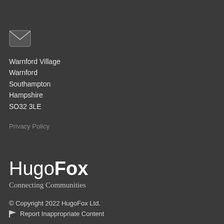[Figure (illustration): Email envelope icon — white envelope outline on dark background]
Warnford Village
Warnford
Southampton
Hampshire
SO32 3LE
Privacy Policy
HugoFox
Connecting Communities
© Copyright 2022 HugoFox Ltd.
🏴 Report Inappropriate Content